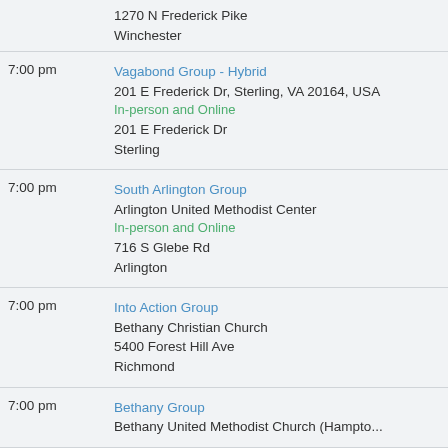1270 N Frederick Pike
Winchester
7:00 pm | Vagabond Group - Hybrid
201 E Frederick Dr, Sterling, VA 20164, USA
In-person and Online
201 E Frederick Dr
Sterling
7:00 pm | South Arlington Group
Arlington United Methodist Center
In-person and Online
716 S Glebe Rd
Arlington
7:00 pm | Into Action Group
Bethany Christian Church
5400 Forest Hill Ave
Richmond
7:00 pm | Bethany Group
Bethany United Methodist Church (Hampto...